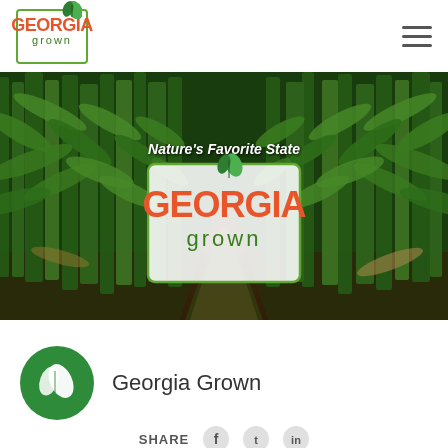[Figure (logo): Georgia Grown logo in top-left header with green leaf, orange GEORGIA text and green grown text inside a green border box]
[Figure (photo): Cornfield hero banner photo with two rows of tall corn plants forming a corridor, overlaid with 'Nature's Favorite State' text and a Georgia Grown logo badge]
[Figure (logo): Georgia Grown circular green icon with white leaf design]
Georgia Grown
SHARE